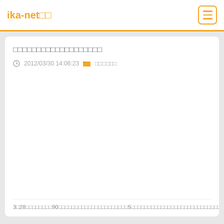ika-net□□
□□□□□□□□□□□□□□□□□□□
2012/03/30 14:06:23  □□□□□□
3□28□□□□□□□□90□□□□□□□□□□□□□□□□□□□□□5□□□□□□□□□□□□□□□□□□□□□□□□□□□□□□□□□□□□□□□□□□□□□□□□□□□□□□□□□□□□□□□□□□□□□□□□□□□□□□□□□